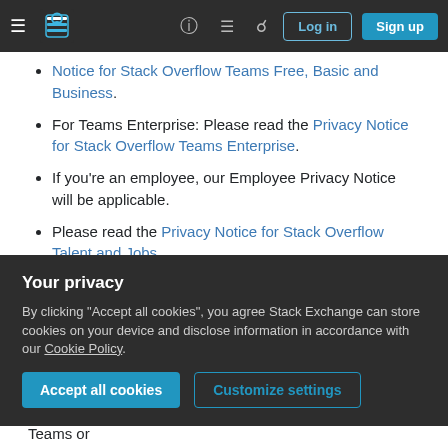[Figure (screenshot): Stack Overflow navigation bar with hamburger menu, logo, help, chat, search icons, Log in and Sign up buttons]
Notice for Stack Overflow Teams Free, Basic and Business.
For Teams Enterprise: Please read the Privacy Notice for Stack Overflow Teams Enterprise.
If you're an employee, our Employee Privacy Notice will be applicable.
Please read the Privacy Notice for Stack Overflow Talent and Jobs.
GENERAL PRIVACY NOTICE FOR STACK
Your privacy
By clicking "Accept all cookies", you agree Stack Exchange can store cookies on your device and disclose information in accordance with our Cookie Policy.
Accept all cookies  Customize settings
us, e.g., when you purchase or use our Advertising or Teams or